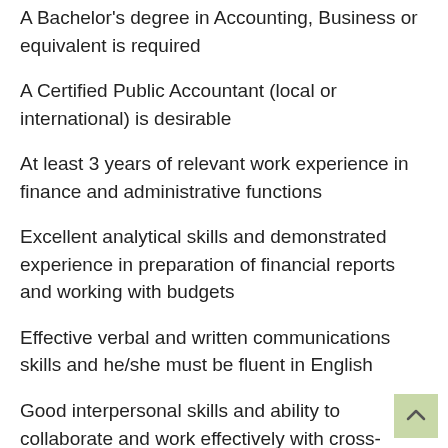A Bachelor's degree in Accounting, Business or equivalent is required
A Certified Public Accountant (local or international) is desirable
At least 3 years of relevant work experience in finance and administrative functions
Excellent analytical skills and demonstrated experience in preparation of financial reports and working with budgets
Effective verbal and written communications skills and he/she must be fluent in English
Good interpersonal skills and ability to collaborate and work effectively with cross-cultural teams